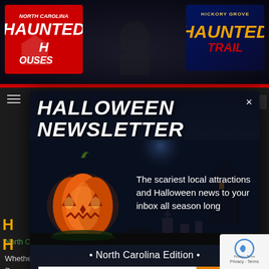[Figure (screenshot): Top banner with North Carolina Haunted Houses logo on left and Hickory Grove Haunted Trail logo on right, dark spooky background]
HALLOWEEN NEWSLETTER
[Figure (illustration): Halloween scene with glowing jack-o-lantern pumpkin on left, spooky haunted house with moon in background]
The scariest local attractions and Halloween news to your inbox all season long
• North Carolina Edition •
[your email]
Join
North Carolina Haunted Attractions » Forsyth County » Winston Salem
Whether you're from Winston Salem, or you're simply visiting this Halloween Season, there are plenty of festive fun to enjoy this Halloween Season. If you're looking for a day of family fun in a pumpkin patch, or spending the evening Haunt hunting with friends is more your speed,